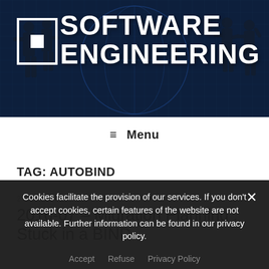[Figure (screenshot): Software Engineering website banner with dark blue tech background, silhouettes of business people on left and right, white square bracket logo icon on left, and large white bold text 'SOFTWARE ENGINEERING']
≡ Menu
TAG: AUTOBIND
28/06/2016
2016-07 – Migration Planning : Stuck in a BIND
Cookies facilitate the provision of our services. If you don't accept cookies, certain features of the website are not available. Further information can be found in our privacy policy.
Accept   Refuse   Privacy Policy